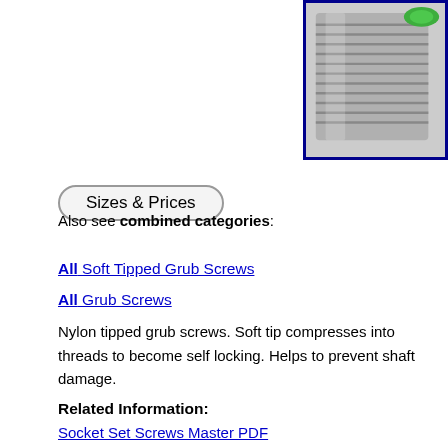[Figure (photo): Close-up photo of a nylon tipped grub screw (set screw) showing metallic threads with a green nylon tip, displayed in a blue-bordered box in the top-right corner.]
Sizes & Prices
Also see combined categories:
All Soft Tipped Grub Screws
All Grub Screws
Nylon tipped grub screws. Soft tip compresses into threads to become self locking. Helps to prevent shaft damage.
Related Information:
Socket Set Screws Master PDF